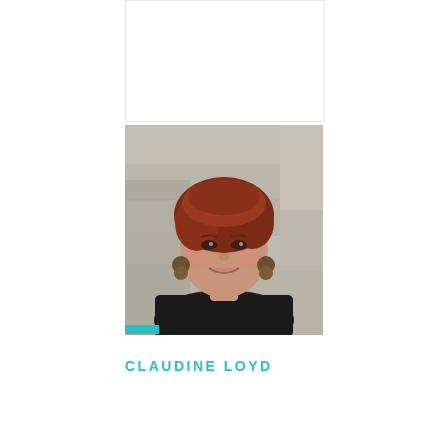[Figure (photo): Portrait photo of a woman with short reddish-brown hair, wearing gold hoop earrings and a black top, smiling, with a stone wall background. A small teal rectangular bar appears at the bottom-left corner of the image.]
CLAUDINE LOYD